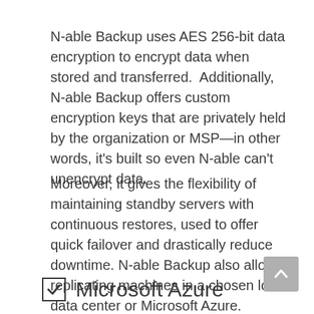N-able Backup uses AES 256-bit data encryption to encrypt data when stored and transferred.  Additionally, N-able Backup offers custom encryption keys that are privately held by the organization or MSP—in other words, it’s built so even N-able can’t unencrypt data.
Moreover, it gives the flexibility of maintaining standby servers with continuous restores, used to offer quick failover and drastically reduce downtime. N-able Backup also allows replicating machines in a chosen local data center or Microsoft Azure.
☑ Microsoft Azure